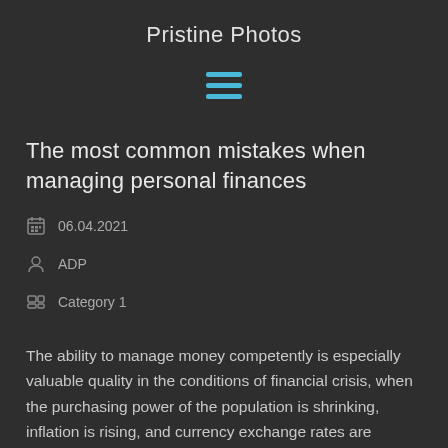Pristine Photos
[Figure (other): Hamburger menu icon with three horizontal blue lines]
The most common mistakes when managing personal finances
06.04.2021
ADP
Category 1
The ability to manage money competently is especially valuable quality in the conditions of financial crisis, when the purchasing power of the population is shrinking, inflation is rising, and currency exchange rates are completely unpredictable. Below are